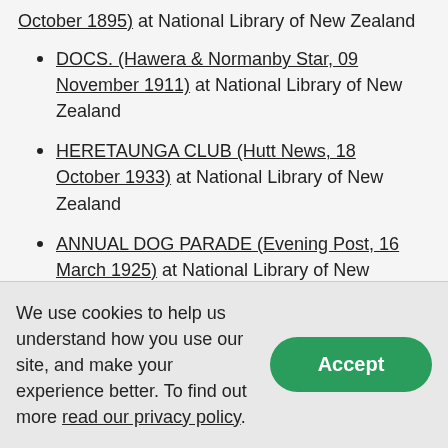October 1895) at National Library of New Zealand
DOCS. (Hawera & Normanby Star, 09 November 1911) at National Library of New Zealand
HERETAUNGA CLUB (Hutt News, 18 October 1933) at National Library of New Zealand
ANNUAL DOG PARADE (Evening Post, 16 March 1925) at National Library of New Zealand
WHIPPET RACING (Evening Post, 16 May 1936) at National Library of New Zealand
Page 1 Advertisements Column 4 (Hawera & Normanby Star, 15 June 1910) at National Library of New Zealand
We use cookies to help us understand how you use our site, and make your experience better. To find out more read our privacy policy.